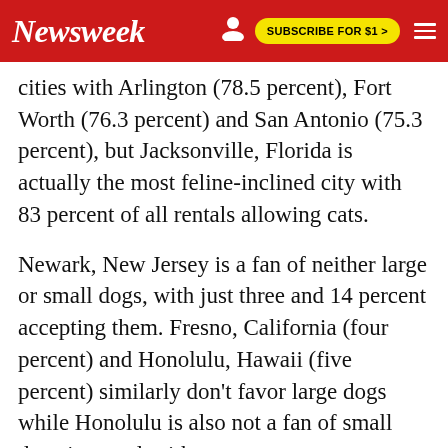Newsweek | SUBSCRIBE FOR $1 >
cities with Arlington (78.5 percent), Fort Worth (76.3 percent) and San Antonio (75.3 percent), but Jacksonville, Florida is actually the most feline-inclined city with 83 percent of all rentals allowing cats.
Newark, New Jersey is a fan of neither large or small dogs, with just three and 14 percent accepting them. Fresno, California (four percent) and Honolulu, Hawaii (five percent) similarly don't favor large dogs while Honolulu is also not a fan of small dogs in rentals either